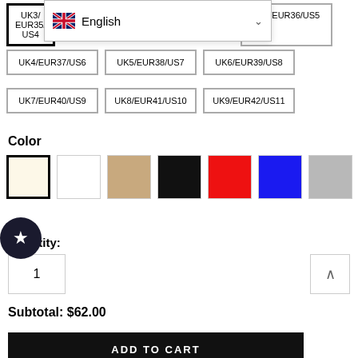[Figure (screenshot): Language selector dropdown showing UK flag and 'English' with a chevron down arrow]
UK3/EUR35/US4
UK3/EUR36/US5
UK4/EUR37/US6
UK5/EUR38/US7
UK6/EUR39/US8
UK7/EUR40/US9
UK8/EUR41/US10
UK9/EUR42/US11
Color
[Figure (other): Color swatches: cream (selected), white, beige/tan, black, red, blue, gray, pink]
Quantity:
1
Subtotal: $62.00
ADD TO CART